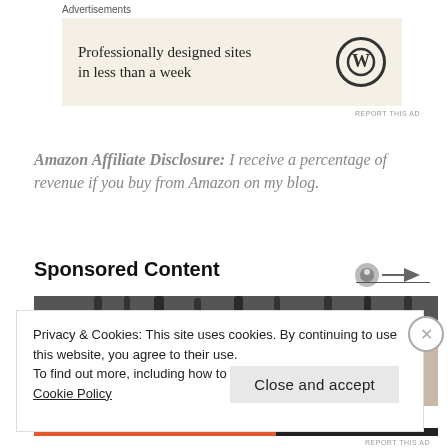Advertisements
[Figure (screenshot): WordPress ad banner with text 'Professionally designed sites in less than a week' and WordPress logo on beige background]
REPORT THIS AD
Amazon Affiliate Disclosure: I receive a percentage of revenue if you buy from Amazon on my blog.
Sponsored Content
[Figure (photo): Black and white close-up photo of a person's face showing eyes with glasses and eyebrows]
Privacy & Cookies: This site uses cookies. By continuing to use this website, you agree to their use.
To find out more, including how to control cookies, see here: Cookie Policy
Close and accept
REPORT THIS AD